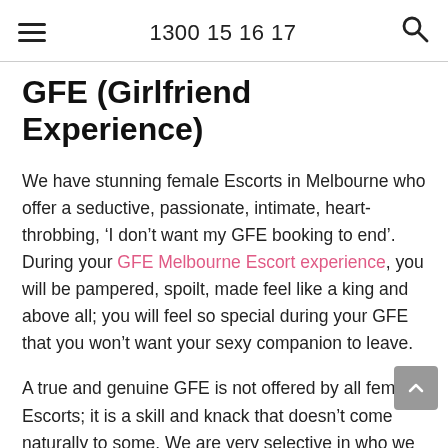1300 15 16 17
GFE (Girlfriend Experience)
We have stunning female Escorts in Melbourne who offer a seductive, passionate, intimate, heart-throbbing, ‘I don’t want my GFE booking to end’. During your GFE Melbourne Escort experience, you will be pampered, spoilt, made feel like a king and above all; you will feel so special during your GFE that you won’t want your sexy companion to leave.
A true and genuine GFE is not offered by all female Escorts; it is a skill and knack that doesn’t come naturally to some. We are very selective in who we allow to say they perform GFE for our clientele – you